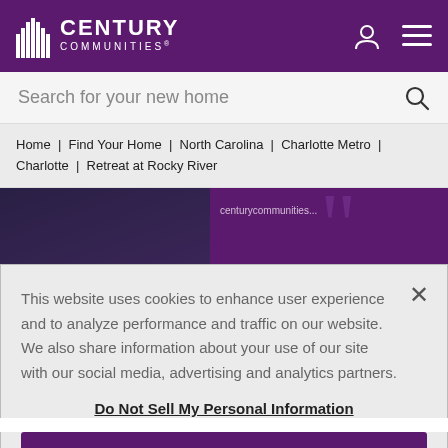CENTURY COMMUNITIES®
Search for your new home
Home | Find Your Home | North Carolina | Charlotte Metro | Charlotte | Retreat at Rocky River
[Figure (photo): Partial view of people standing, purple branded banner background with quotation mark design]
This website uses cookies to enhance user experience and to analyze performance and traffic on our website. We also share information about your use of our site with our social media, advertising and analytics partners.
Do Not Sell My Personal Information
Accept Cookies